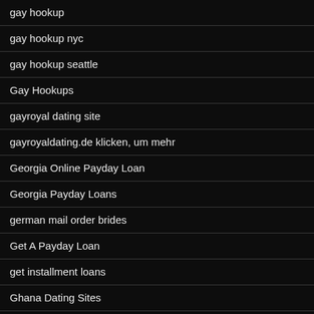gay hookup
gay hookup nyc
gay hookup seattle
Gay Hookups
gayroyal dating site
gayroyaldating.de klicken, um mehr
Georgia Online Payday Loan
Georgia Payday Loans
german mail order brides
Get A Payday Loan
get installment loans
Ghana Dating Sites
Girl Bride